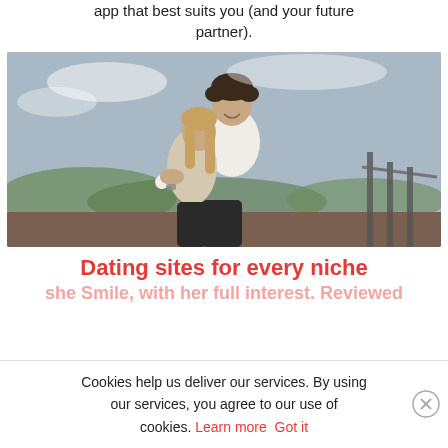app that best suits you (and your future partner).
[Figure (photo): A couple embracing on a rooftop terrace. A smiling man with curly hair wearing a white shirt hugs a woman with long blonde hair wearing a beige jacket. Background shows a scenic view with trees and buildings.]
Dating sites for every niche
she Smile, with her full interest. Reviewed
Cookies help us deliver our services. By using our services, you agree to our use of cookies. Learn more  Got it